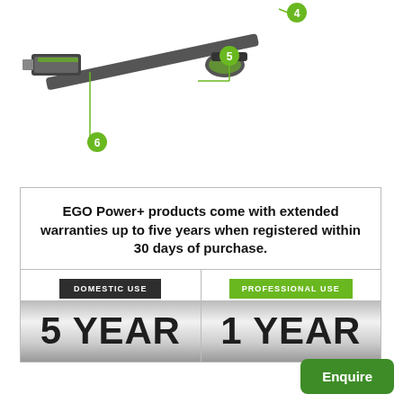[Figure (illustration): Partial view of an EGO Power+ hedge trimmer or multi-tool with numbered callout circles (5 and 6) connected by green lines pointing to parts of the tool.]
EGO Power+ products come with extended warranties up to five years when registered within 30 days of purchase.
[Figure (infographic): Two warranty cards side by side. Left card: 'DOMESTIC USE' dark badge, '5 YEAR' in large text on metallic background. Right card: 'PROFESSIONAL USE' green badge, '1 YEAR' in large text on metallic background.]
Enquire